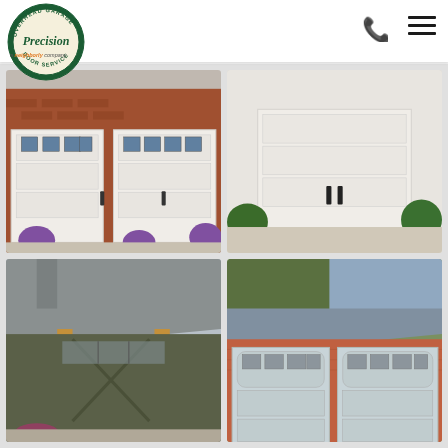[Figure (logo): Precision Overhead Garage Door Service logo — circular green badge with company name]
[Figure (photo): White carriage-style garage doors on a red brick house with purple flowers]
[Figure (photo): White modern garage door on a white stucco house with green landscaping]
[Figure (photo): Dark brown barn-style garage doors on a wood and brick building with gray shingle roof]
[Figure (photo): Light blue/white carriage-style garage doors on a brick house with gray roof and trees]